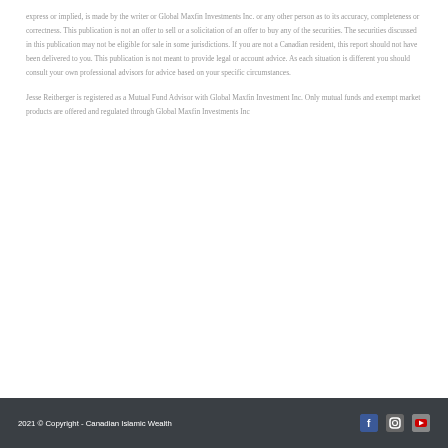express or implied, is made by the writer or Global Maxfin Investments Inc. or any other person as to its accuracy, completeness or correctness. This publication is not an offer to sell or a solicitation of an offer to buy any of the securities. The securities discussed in this publication may not be eligible for sale in some jurisdictions. If you are not a Canadian resident, this report should not have been delivered to you. This publication is not meant to provide legal or account advice. As each situation is different you should consult your own professional advisors for advice based on your specific circumstances.
Jesse Reitberger is registered as a Mutual Fund Advisor with Global Maxfin Investment Inc. Only mutual funds and exempt market products are offered and regulated through Global Maxfin Investments Inc
2021 © Copyright - Canadian Islamic Wealth